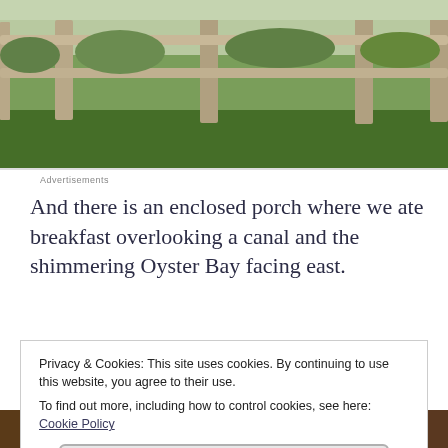[Figure (photo): Outdoor scene with a wooden split-rail fence, green grass lawn, and garden shrubs/plantings in the background.]
Advertisements
And there is an enclosed porch where we ate breakfast overlooking a canal and the shimmering Oyster Bay facing east.
Privacy & Cookies: This site uses cookies. By continuing to use this website, you agree to their use.
To find out more, including how to control cookies, see here: Cookie Policy
Close and accept
[Figure (photo): Partial view of an indoor scene, appears to show wooden furniture/decorative items, cropped at bottom of page.]